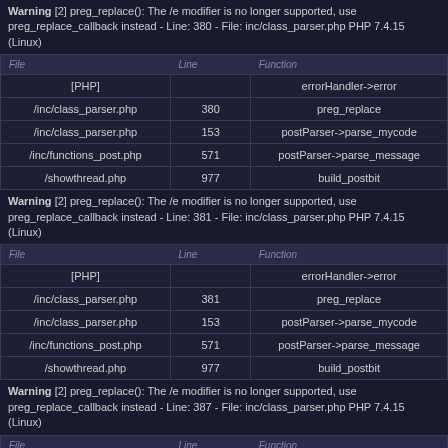Warning [2] preg_replace(): The /e modifier is no longer supported, use preg_replace_callback instead - Line: 380 - File: inc/class_parser.php PHP 7.4.15 (Linux)
| File | Line | Function |
| --- | --- | --- |
| [PHP] |  | errorHandler->error |
| /inc/class_parser.php | 380 | preg_replace |
| /inc/class_parser.php | 153 | postParser->parse_mycode |
| /inc/functions_post.php | 571 | postParser->parse_message |
| /showthread.php | 977 | build_postbit |
Warning [2] preg_replace(): The /e modifier is no longer supported, use preg_replace_callback instead - Line: 381 - File: inc/class_parser.php PHP 7.4.15 (Linux)
| File | Line | Function |
| --- | --- | --- |
| [PHP] |  | errorHandler->error |
| /inc/class_parser.php | 381 | preg_replace |
| /inc/class_parser.php | 153 | postParser->parse_mycode |
| /inc/functions_post.php | 571 | postParser->parse_message |
| /showthread.php | 977 | build_postbit |
Warning [2] preg_replace(): The /e modifier is no longer supported, use preg_replace_callback instead - Line: 387 - File: inc/class_parser.php PHP 7.4.15 (Linux)